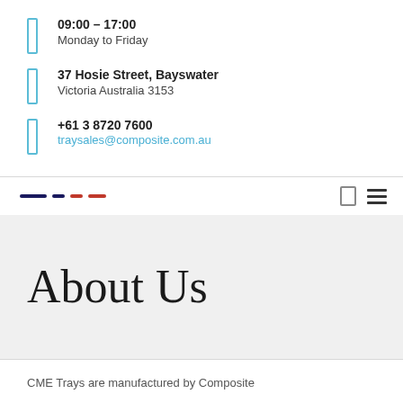09:00 – 17:00
Monday to Friday
37 Hosie Street, Bayswater
Victoria Australia 3153
+61 3 8720 7600
traysales@composite.com.au
[Figure (logo): Company logo with navy and red dashes, plus nav icons including a box icon and hamburger menu]
About Us
CME Trays are manufactured by Composite